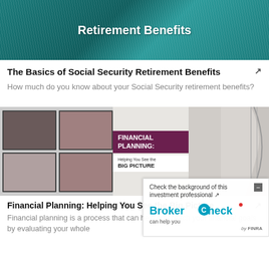[Figure (illustration): Teal/dark blue decorative banner image with text 'Retirement Benefits' in white bold text over a textured background]
The Basics of Social Security Retirement Benefits
How much do you know about your Social Security retirement benefits?
[Figure (infographic): Promotional banner image showing 'FINANCIAL PLANNING: Helping You See the BIG PICTURE' in a purple/dark red banner overlaid on an image of framed family photos and a modern home interior with curved staircase]
Financial Planning: Helping You See the Big Picture
Financial planning is a process that can help you reach your financial goals by evaluating your whole
[Figure (infographic): BrokerCheck overlay widget: 'Check the background of this investment professional' with BrokerCheck logo and FINRA branding]